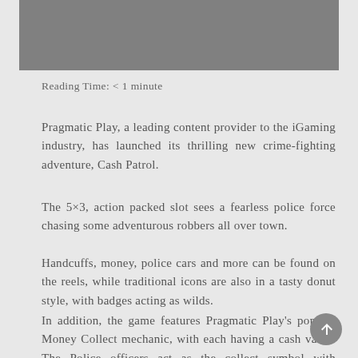[Figure (photo): Gray rectangular image block at top of page]
Reading Time: < 1 minute
Pragmatic Play, a leading content provider to the iGaming industry, has launched its thrilling new crime-fighting adventure, Cash Patrol.
The 5×3, action packed slot sees a fearless police force chasing some adventurous robbers all over town.
Handcuffs, money, police cars and more can be found on the reels, while traditional icons are also in a tasty donut style, with badges acting as wilds.
In addition, the game features Pragmatic Play's popular Money Collect mechanic, with each having a cash value. The Police officers act as the collect symbol with different modifiers attached to give huge win potential if the crook is